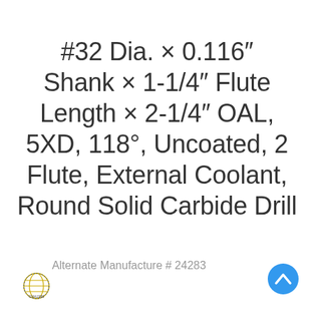#32 Dia. × 0.116″ Shank × 1-1/4″ Flute Length × 2-1/4″ OAL, 5XD, 118°, Uncoated, 2 Flute, External Coolant, Round Solid Carbide Drill
Alternate Manufacture # 24283
[Figure (logo): Small circular globe/network logo in bottom left corner]
[Figure (other): Blue circular scroll-up button with upward chevron arrow in bottom right corner]